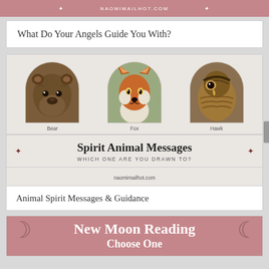NAOMIMAILHOT.COM
What Do Your Angels Guide You With?
[Figure (illustration): Spirit Animal Messages card showing three arched photo frames with Bear, Fox, and Hawk animals. Below is text reading 'Spirit Animal Messages - WHICH ONE ARE YOU DRAWN TO?' and website naomimailhot.com]
Animal Spirit Messages & Guidance
[Figure (illustration): New Moon Reading card with pink/mauve background, crescent moon decorations on sides, and text 'New Moon Reading' and 'Choose One']